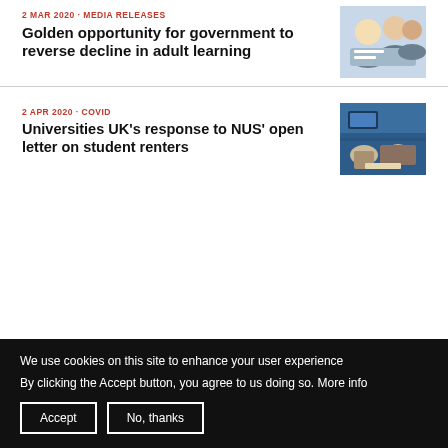2 MAR 2020 · MEDIA RELEASES
Golden opportunity for government to reverse decline in adult learning
[Figure (photo): Adults in a classroom setting, group of older adults studying together]
2 APR 2020 · COVID
Universities UK's response to NUS' open letter on student renters
[Figure (photo): Students looking at documents, viewed from above]
We use cookies on this site to enhance your user experience
By clicking the Accept button, you agree to us doing so. More info
Accept
No, thanks